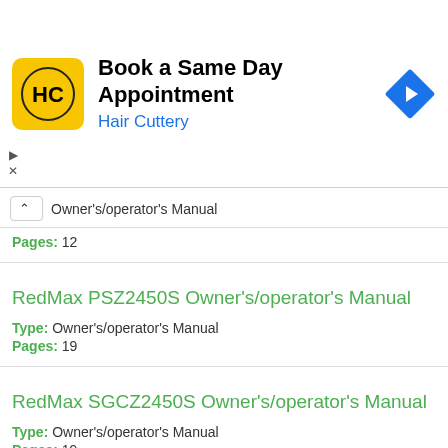[Figure (infographic): Hair Cuttery advertisement banner: yellow square logo with 'HC' text, headline 'Book a Same Day Appointment', subtitle 'Hair Cuttery' in blue, and a blue diamond navigation icon on the right.]
Owner's/operator's Manual
Pages: 12
RedMax PSZ2450S Owner's/operator's Manual
Type: Owner's/operator's Manual
Pages: 19
RedMax SGCZ2450S Owner's/operator's Manual
Type: Owner's/operator's Manual
Pages: 19
RedMax GHT2460 Owner's/operator's Manual